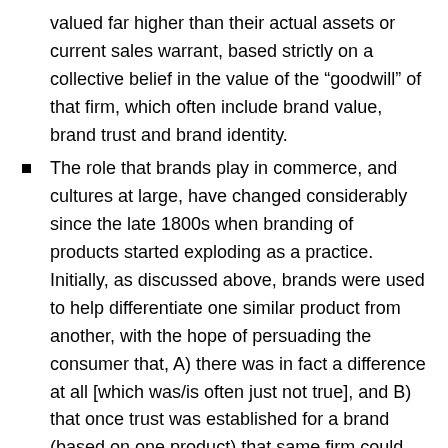valued far higher than their actual assets or current sales warrant, based strictly on a collective belief in the value of the “goodwill” of that firm, which often include brand value, brand trust and brand identity.
The role that brands play in commerce, and cultures at large, have changed considerably since the late 1800s when branding of products started exploding as a practice. Initially, as discussed above, brands were used to help differentiate one similar product from another, with the hope of persuading the consumer that, A) there was in fact a difference at all [which was/is often just not true], and B) that once trust was established for a brand (based on one product) that same firm could trade on that trust and extend whatever consumer belief there was in the original product to a new and different type of product – which